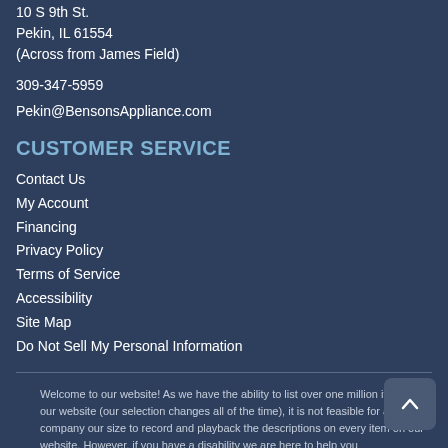10 S 9th St.
Pekin, IL 61554
(Across from James Field)
309-347-5959
Pekin@BensonsAppliance.com
CUSTOMER SERVICE
Contact Us
My Account
Financing
Privacy Policy
Terms of Service
Accessibility
Site Map
Do Not Sell My Personal Information
Welcome to our website! As we have the ability to list over one million items on our website (our selection changes all of the time), it is not feasible for a company our size to record and playback the descriptions on every item on our website. However, if you have a disability we are here to help you